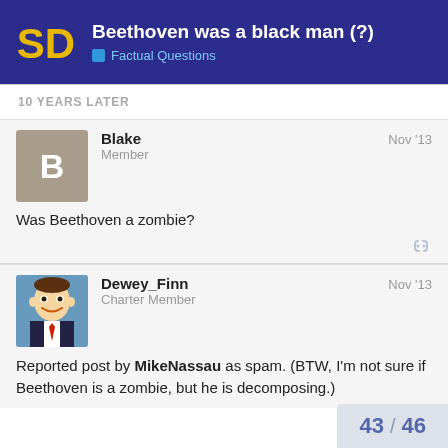Beethoven was a black man (?) — Factual Questions
10 YEARS LATER
Blake — Member — Nov '13
Was Beethoven a zombie?
Dewey_Finn — Charter Member — Nov '13
Reported post by MikeNassau as spam. (BTW, I'm not sure if Beethoven is a zombie, but he is decomposing.)
43 / 46